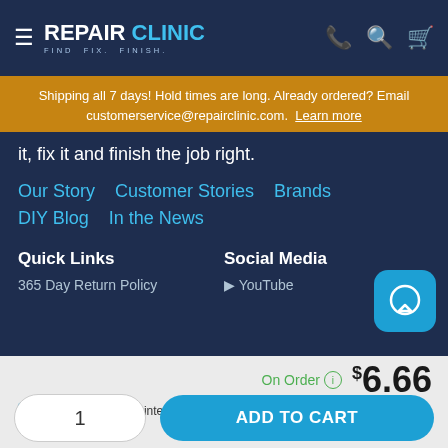REPAIR CLINIC - FIND. FIX. FINISH.
Shipping all 7 days! Hold times are long. Already ordered? Email customerservice@repairclinic.com. Learn more
it, fix it and finish the job right.
Our Story   Customer Stories   Brands
DIY Blog   In the News
Quick Links
Social Media
365 Day Return Policy
YouTube
On Order  $6.66
PayPal  Pay in 4 interest-free payments on purchases of $30-$1,500.
1   ADD TO CART